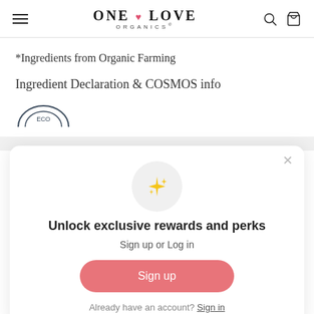[Figure (logo): One Love Organics logo with hamburger menu, search, and basket icons in header]
*Ingredients from Organic Farming
Ingredient Declaration & COSMOS info
[Figure (logo): Partial ECO certification logo circle]
[Figure (screenshot): Modal popup: Unlock exclusive rewards and perks. Sign up or Log in. Sign up button. Already have an account? Sign in.]